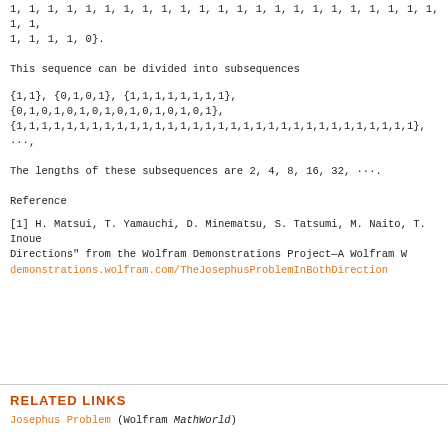1, 1, 1, 1, 1, 1, 1, 1, 1, 1, 1, 1, 1, 1, 1, 1, 1, 1, 1, 1, 1, 1, 1, 1, 1, 1, 1, 1, 1, 1, 1, 1, 0}.
This sequence can be divided into subsequences
{1,1}, {0,1,0,1}, {1,1,1,1,1,1,1,1}, {0,1,0,1,0,1,0,1,0,1,0,1,0,1,0,1}, {1,1,1,1,1,1,1,1,1,1,1,1,1,1,1,1,1,1,1,1,1,1,1,1,1,1,1,1,1,1,1,1}, ···,
The lengths of these subsequences are 2, 4, 8, 16, 32, ···.
Reference
[1] H. Matsui, T. Yamauchi, D. Minematsu, S. Tatsumi, M. Naito, T. Inoue Directions" from the Wolfram Demonstrations Project—A Wolfram W demonstrations.wolfram.com/TheJosephusProblemInBothDirection
RELATED LINKS
Josephus Problem (Wolfram MathWorld)